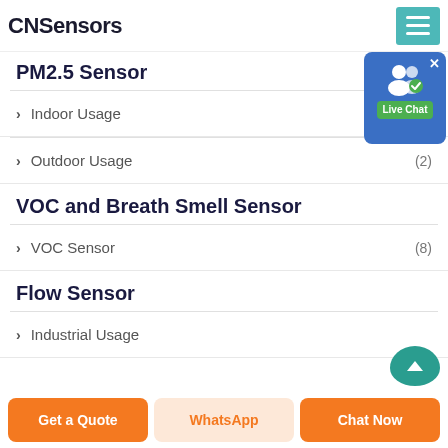CNSensors
PM2.5 Sensor
Indoor Usage
Outdoor Usage (2)
VOC and Breath Smell Sensor
VOC Sensor (8)
Flow Sensor
Industrial Usage
[Figure (screenshot): Live Chat popup bubble with user icon and green Live Chat label]
[Figure (other): Teal scroll-to-top button partially visible at bottom right]
Get a Quote | WhatsApp | Chat Now